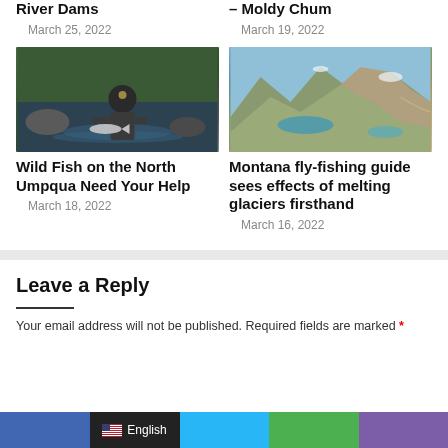River Dams
March 25, 2022
– Moldy Chum
March 19, 2022
[Figure (photo): Person standing in river releasing a fish, with rocks and forested banks in the background]
[Figure (photo): Aerial view of mountain landscape with glacial lakes and rocky terrain]
Wild Fish on the North Umpqua Need Your Help
March 18, 2022
Montana fly-fishing guide sees effects of melting glaciers firsthand
March 16, 2022
Leave a Reply
Your email address will not be published. Required fields are marked *